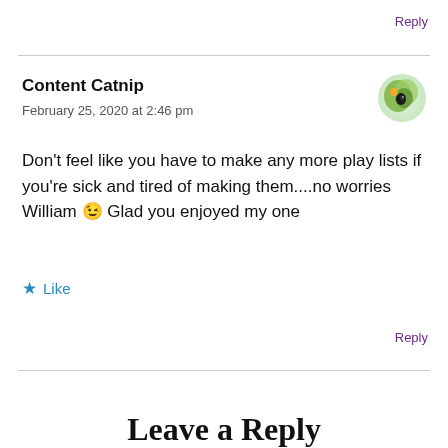Reply
Content Catnip
February 25, 2020 at 2:46 pm
Don't feel like you have to make any more play lists if you're sick and tired of making them....no worries William 😉 Glad you enjoyed my one
★ Like
Reply
Leave a Reply